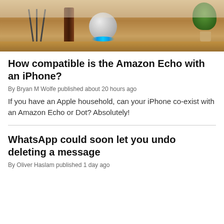[Figure (photo): Amazon Echo Dot (round white sphere shape) sitting on a wooden shelf, with a brown bottle, a tripod/stand, and a small bonsai plant in the background. The Echo Dot has a blue ring light at its base.]
How compatible is the Amazon Echo with an iPhone?
By Bryan M Wolfe published about 20 hours ago
If you have an Apple household, can your iPhone co-exist with an Amazon Echo or Dot? Absolutely!
WhatsApp could soon let you undo deleting a message
By Oliver Haslam published 1 day ago